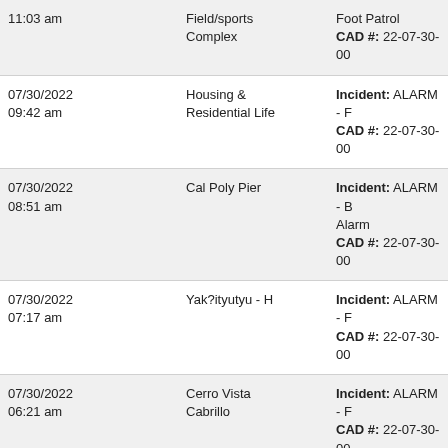| Date/Time |  | Location | Details |
| --- | --- | --- | --- |
| 11:03 am |  | Field/sports Complex | Foot Patrol
CAD #: 22-07-30-00 |
| 07/30/2022
09:42 am |  | Housing &
Residential Life | Incident: ALARM - F
CAD #: 22-07-30-00 |
| 07/30/2022
08:51 am |  | Cal Poly Pier | Incident: ALARM - B
Alarm
CAD #: 22-07-30-00 |
| 07/30/2022
07:17 am |  | Yak?ityutyu - H | Incident: ALARM - F
CAD #: 22-07-30-00 |
| 07/30/2022
06:21 am |  | Cerro Vista
Cabrillo | Incident: ALARM - F
CAD #: 22-07-30-00 |
| 07/30/2022
06:11 am |  | Cerro Vista Bishop | Incident: ALARM - F
CAD #: 22-07-30-00 |
| 07/29/2022
04:50 pm |  | Pcv Inyo | Incident: ALARM - F
CAD #: 22-07-29-00 |